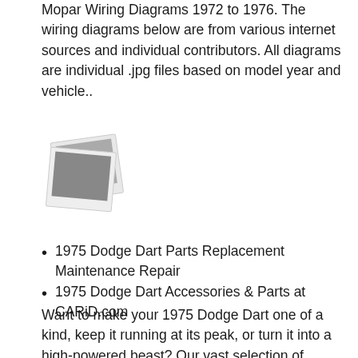Mopar Wiring Diagrams 1972 to 1976. The wiring diagrams below are from various internet sources and individual contributors. All diagrams are individual .jpg files based on model year and vehicle..
[Figure (photo): Two overlapping polaroid-style photo thumbnails with gray image placeholders]
1975 Dodge Dart Parts Replacement Maintenance Repair
1975 Dodge Dart Accessories & Parts at CARiD.com
Want to make your 1975 Dodge Dart one of a kind, keep it running at its peak, or turn it into a high-powered beast? Our vast selection of premium accessories and parts ticks all the